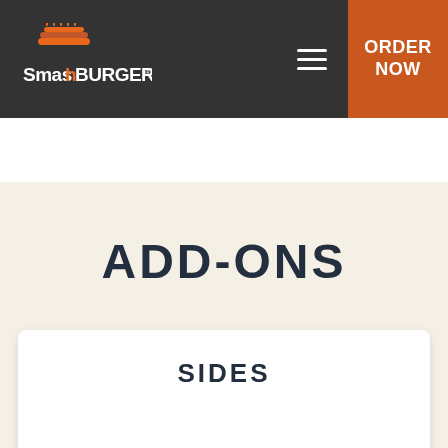Smashburger — ORDER NOW
ADD-ONS
SIDES